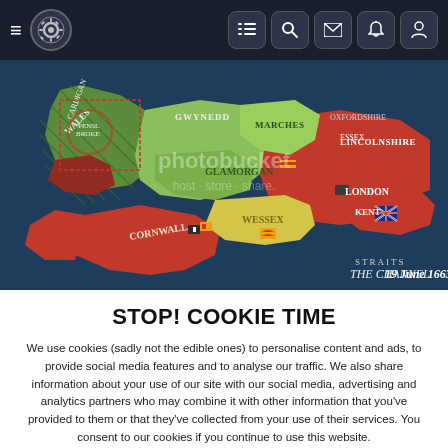Navigation bar with hamburger menu, logo, and icons (list, search, mail, bell, user)
[Figure (screenshot): A map screenshot from a strategy game showing regions of England and Wales including Cornwall, Wessex, Kent, London, Glamorgan, Marches, with date 19 June 1663. A Photobucket watermark overlay is visible.]
STOP! COOKIE TIME
We use cookies (sadly not the edible ones) to personalise content and ads, to provide social media features and to analyse our traffic. We also share information about your use of our site with our social media, advertising and analytics partners who may combine it with other information that you've provided to them or that they've collected from your use of their services. You consent to our cookies if you continue to use this website.
ACCEPT